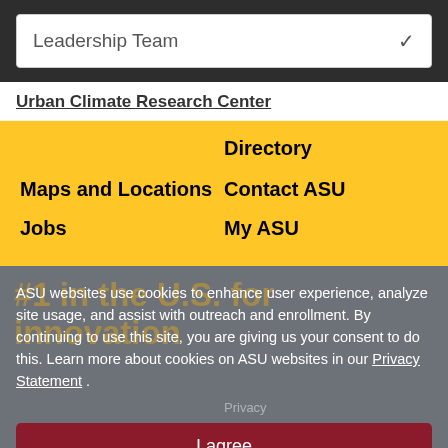Leadership Team
Urban Climate Research Center
Directory
Maps and Locations
Contact ASU
Jobs
My ASU
#1 in the U.S. for innovation
ASU websites use cookies to enhance user experience, analyze site usage, and assist with outreach and enrollment. By continuing to use this site, you are giving us your consent to do this. Learn more about cookies on ASU websites in our Privacy Statement .
Privacy
Copyright and Trademark
Terms of Use
I agree
Accessibility
Emergency